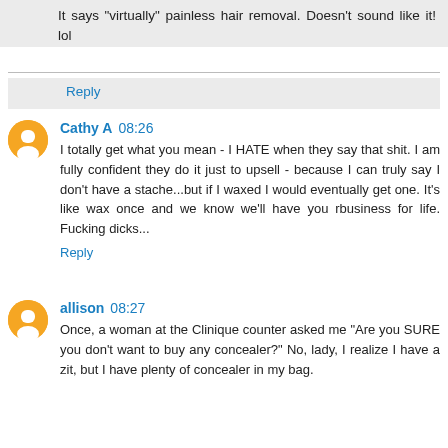It says "virtually" painless hair removal. Doesn't sound like it! lol
Reply
Cathy A  08:26
I totally get what you mean - I HATE when they say that shit. I am fully confident they do it just to upsell - because I can truly say I don't have a stache...but if I waxed I would eventually get one. It's like wax once and we know we'll have you rbusiness for life. Fucking dicks...
Reply
allison  08:27
Once, a woman at the Clinique counter asked me "Are you SURE you don't want to buy any concealer?" No, lady, I realize I have a zit, but I have plenty of concealer in my bag.